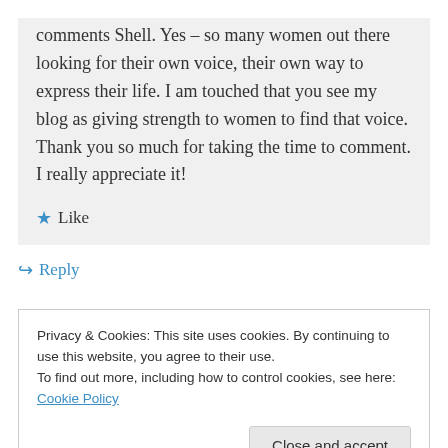comments Shell. Yes – so many women out there looking for their own voice, their own way to express their life. I am touched that you see my blog as giving strength to women to find that voice. Thank you so much for taking the time to comment. I really appreciate it!
★ Like
↪ Reply
Privacy & Cookies: This site uses cookies. By continuing to use this website, you agree to their use.
To find out more, including how to control cookies, see here: Cookie Policy
Close and accept
Intention, Attention and Memory (I AM),